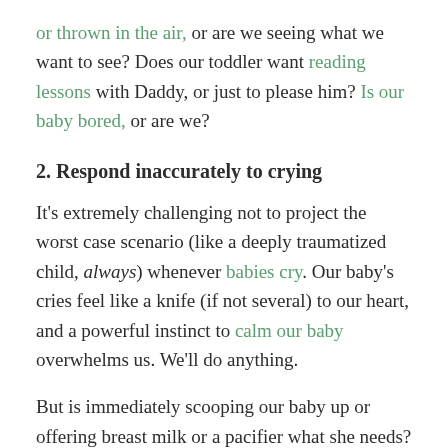or thrown in the air, or are we seeing what we want to see? Does our toddler want reading lessons with Daddy, or just to please him? Is our baby bored, or are we?
2. Respond inaccurately to crying
It's extremely challenging not to project the worst case scenario (like a deeply traumatized child, always) whenever babies cry. Our baby's cries feel like a knife (if not several) to our heart, and a powerful instinct to calm our baby overwhelms us. We'll do anything.
But is immediately scooping our baby up or offering breast milk or a pacifier what she needs? Or are we